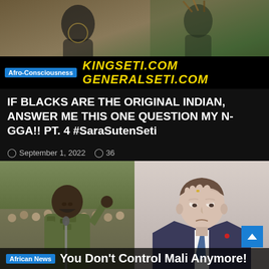[Figure (photo): Top banner image with decorative African/Indigenous figures overlay and website names KINGSETI.COM and GENERALSETI.COM in yellow italic text on black bar, with Afro-Consciousness blue label tag]
IF BLACKS ARE THE ORIGINAL INDIAN, ANSWER ME THIS ONE QUESTION MY N-GGA!! PT. 4 #SaraSutenSeti
September 1, 2022   36
[Figure (photo): Two side-by-side photos: left shows an African military figure in camouflage saluting at a microphone with crowd in background; right shows a European politician (Macron) looking stressed with hand to forehead. Bottom overlay: African News tag and text 'You Don't Control Mali Anymore!']